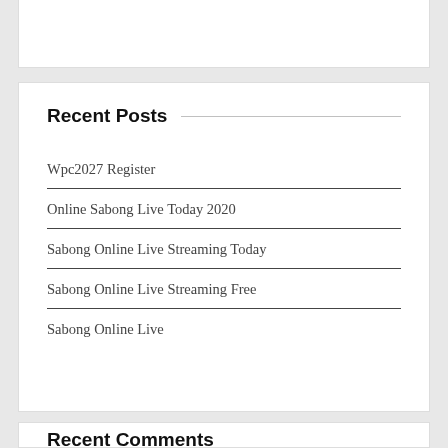Recent Posts
Wpc2027 Register
Online Sabong Live Today 2020
Sabong Online Live Streaming Today
Sabong Online Live Streaming Free
Sabong Online Live
Recent Comments